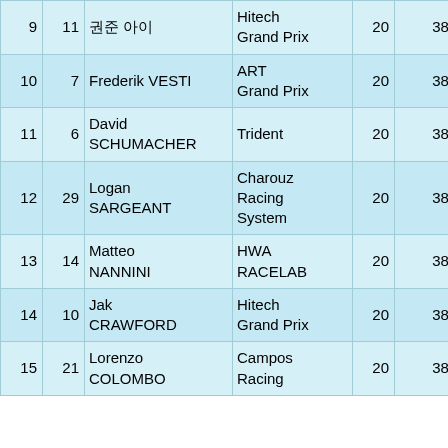| Pos | # | Driver | Team |  | Time | Gap |
| --- | --- | --- | --- | --- | --- | --- |
| 9 | 11 | 권 준 (Korean chars) | Hitech Grand Prix | 20 | 38:09.081 | 22.1 |
| 10 | 7 | Frederik VESTI | ART Grand Prix | 20 | 38:11.821 | 24.9 |
| 11 | 6 | David SCHUMACHER | Trident | 20 | 38:12.251 | 25.3 |
| 12 | 29 | Logan SARGEANT | Charouz Racing System | 20 | 38:12.779 | 25.8 |
| 13 | 14 | Matteo NANNINI | HWA RACELAB | 20 | 38:12.825 | 25.9 |
| 14 | 10 | Jak CRAWFORD | Hitech Grand Prix | 20 | 38:13.266 | 26.3 |
| 15 | 21 | Lorenzo COLOMBO | Campos Racing | 20 | 38:17.496 | 30.6 |